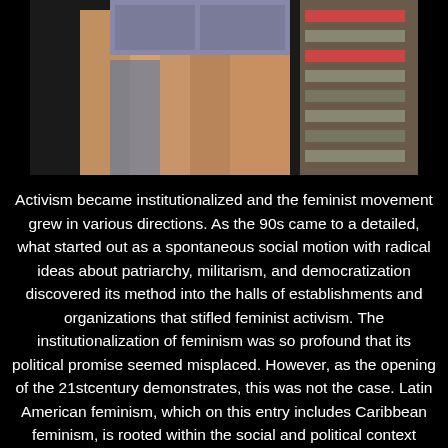[Figure (photo): Photo of a person sitting, showing lower body/legs, with a blurred background suggesting an indoor or outdoor public setting.]
Activism became institutionalized and the feminist movement grew in various directions. As the 90s came to a detailed, what started out as a spontaneous social motion with radical ideas about patriarchy, militarism, and democratization discovered its method into the halls of establishments and organizations that stifled feminist activism. The institutionalization of feminism was so profound that its political promise seemed misplaced. However, as the opening of the 21stcentury demonstrates, this was not the case. Latin American feminism, which on this entry includes Caribbean feminism, is rooted within the social and political context outlined by colonialism,